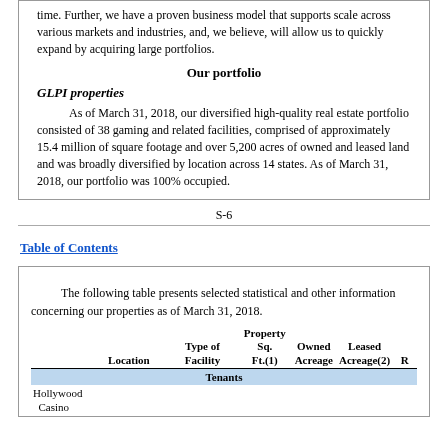time. Further, we have a proven business model that supports scale across various markets and industries, and, we believe, will allow us to quickly expand by acquiring large portfolios.
Our portfolio
GLPI properties
As of March 31, 2018, our diversified high-quality real estate portfolio consisted of 38 gaming and related facilities, comprised of approximately 15.4 million of square footage and over 5,200 acres of owned and leased land and was broadly diversified by location across 14 states. As of March 31, 2018, our portfolio was 100% occupied.
S-6
Table of Contents
The following table presents selected statistical and other information concerning our properties as of March 31, 2018.
|  | Location | Type of Facility | Property Sq. Ft.(1) | Owned Acreage | Leased Acreage(2) | R |
| --- | --- | --- | --- | --- | --- | --- |
| Tenants |  |  |  |  |  |  |
| Hollywood Casino |  |  |  |  |  |  |